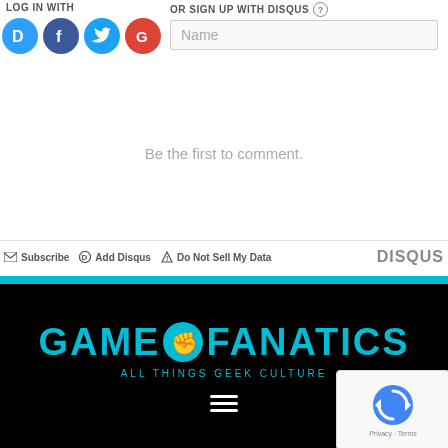LOG IN WITH
[Figure (logo): Four social login icons: Disqus (blue D), Facebook (blue F), Twitter (blue bird), Google (red G)]
OR SIGN UP WITH DISQUS (?)
Name
Be the first to comment.
Subscribe  Add Disqus  Do Not Sell My Data  DISQUS
[Figure (logo): Game Fanatics logo with cyan text and fist icon on black background. Tagline: ALL THINGS GEEK CULTURE]
[Figure (logo): reCAPTCHA widget with rotating arrow logo. Privacy · Terms text below.]